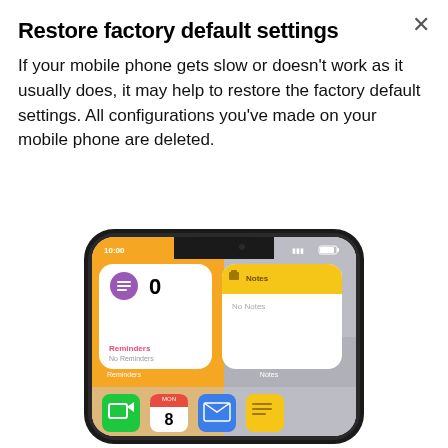Restore factory default settings
If your mobile phone gets slow or doesn't work as it usually does, it may help to restore the factory default settings. All configurations you've made on your mobile phone are deleted.
[Figure (illustration): An iPhone mockup showing the home screen with widgets: a Reminders widget showing 0 reminders, and a Notes widget showing 'No Notes'. The bottom dock shows FaceTime, Calendar (showing MON 8), Mail, and Notes icons.]